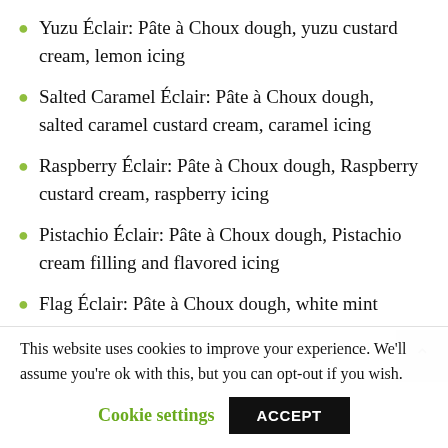Yuzu Éclair: Pâte à Choux dough, yuzu custard cream, lemon icing
Salted Caramel Éclair: Pâte à Choux dough, salted caramel custard cream, caramel icing
Raspberry Éclair: Pâte à Choux dough, Raspberry custard cream, raspberry icing
Pistachio Éclair: Pâte à Choux dough, Pistachio cream filling and flavored icing
Flag Éclair: Pâte à Choux dough, white mint
This website uses cookies to improve your experience. We'll assume you're ok with this, but you can opt-out if you wish.
Cookie settings  ACCEPT